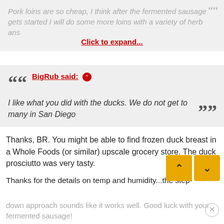Pork loins are so cheap, I think after the fermented sausage gets started I will do some more loins with a variety of herb ans
Click to expand...
BigRub said: ↑
I like what you did with the ducks. We do not get to many in San Diego
Thanks, BR. You might be able to find frozen duck breast in a Whole Foods (or similar) upscale grocery store. The duck prosciutto was very tasty.
Thanks for the details on temp and humidity...the step-down approach sounds like it works well. Good luck with your fermented sausage!